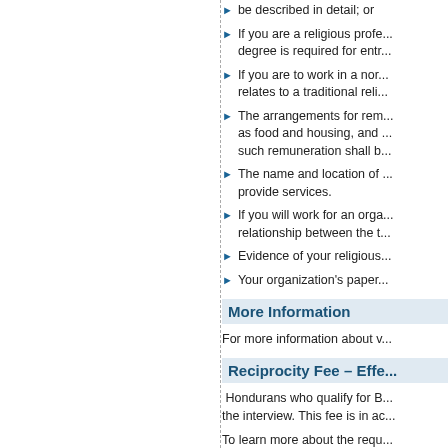be described in detail; or
If you are a religious profe... degree is required for entr...
If you are to work in a nor... relates to a traditional reli...
The arrangements for rem... as food and housing, and ... such remuneration shall b...
The name and location of ... provide services.
If you will work for an orga... relationship between the t...
Evidence of your religious...
Your organization's paper...
More Information
For more information about v...
Reciprocity Fee – Effe...
Hondurans who qualify for B... the interview. This fee is in ac...
To learn more about the requ...